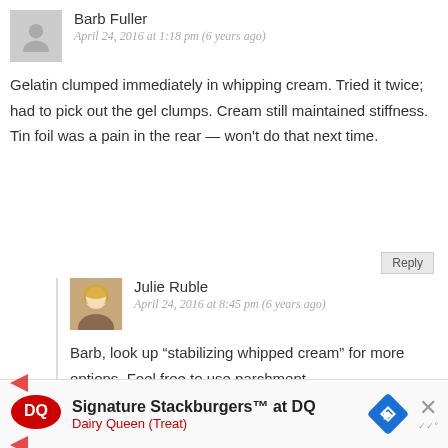Barb Fuller
April 24, 2016 at 1:18 pm (6 years ago)
Gelatin clumped immediately in whipping cream. Tried it twice; had to pick out the gel clumps. Cream still maintained stiffness. Tin foil was a pain in the rear — won't do that next time.
Reply
Julie Ruble
April 24, 2016 at 8:45 pm (6 years ago)
Barb, look up “stabilizing whipped cream” for more options. Feel free to use parchment.
Reply
[Figure (infographic): Dairy Queen advertisement banner: DQ logo, text 'Signature Stackburgers™ at DQ', 'Dairy Queen (Treat)', blue arrow icon, and close X button]